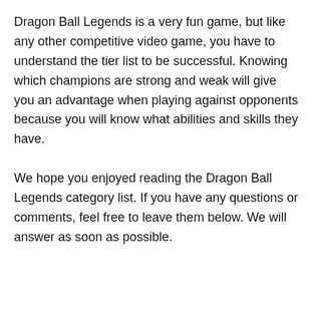Dragon Ball Legends is a very fun game, but like any other competitive video game, you have to understand the tier list to be successful. Knowing which champions are strong and weak will give you an advantage when playing against opponents because you will know what abilities and skills they have.
We hope you enjoyed reading the Dragon Ball Legends category list. If you have any questions or comments, feel free to leave them below. We will answer as soon as possible.